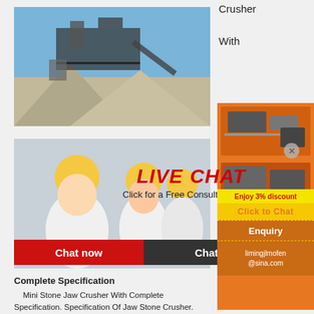Crusher
With
[Figure (photo): Industrial jaw crusher machine with large gravel/stone piles in an outdoor setting, blue sky background]
[Figure (photo): Three workers in yellow hard hats smiling, with LIVE CHAT overlay and 'Click for a Free Consultation' text, Chat now and Chat later buttons]
[Figure (photo): Orange sidebar panel showing two orange-colored crusher machines and promotional text including 'Enjoy 3% discount', 'Click to Chat', 'Enquiry', and 'limingjlmofen@sina.com']
Complete Specification
Mini Stone Jaw Crusher With Complete Specification. Specification Of Jaw Stone Crusher. Qj341 jaw crusher technical specification sheet the qj341 is the latest development in the series of tracked jaw crushers that transport dimensions 247